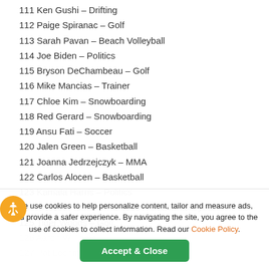111 Ken Gushi – Drifting
112 Paige Spiranac – Golf
113 Sarah Pavan – Beach Volleyball
114 Joe Biden – Politics
115 Bryson DeChambeau – Golf
116 Mike Mancias – Trainer
117 Chloe Kim – Snowboarding
118 Red Gerard – Snowboarding
119 Ansu Fati – Soccer
120 Jalen Green – Basketball
121 Joanna Jedrzejczyk – MMA
122 Carlos Alocen – Basketball
123 Kamala Harris – Politics
124 Melissa Humana-Paredes – Beach Volleyball
125 Tiger Woods – Golf
We use cookies to help personalize content, tailor and measure ads, and provide a safer experience. By navigating the site, you agree to the use of cookies to collect information. Read our Cookie Policy.
Accept & Close